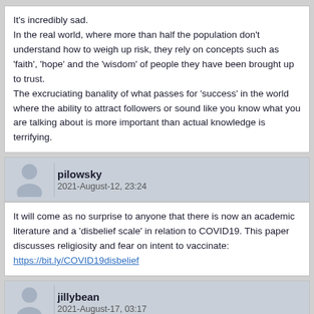It's incredibly sad.
In the real world, where more than half the population don't understand how to weigh up risk, they rely on concepts such as 'faith', 'hope' and the 'wisdom' of people they have been brought up to trust.
The excruciating banality of what passes for 'success' in the world where the ability to attract followers or sound like you know what you are talking about is more important than actual knowledge is terrifying.
pilowsky
2021-August-12, 23:24
It will come as no surprise to anyone that there is now an academic literature and a 'disbelief scale' in relation to COVID19. This paper discusses religiosity and fear on intent to vaccinate:
https://bit.ly/COVID19disbelief
jillybean
2021-August-17, 03:17